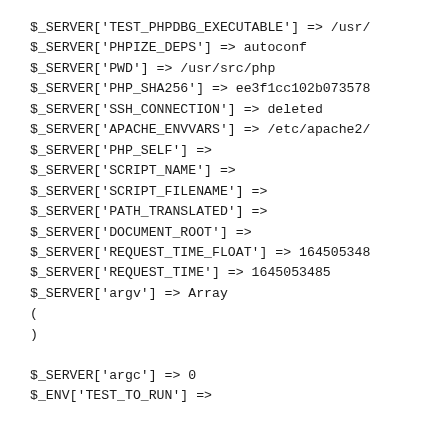$_SERVER['TEST_PHPDBG_EXECUTABLE'] => /usr/
$_SERVER['PHPIZE_DEPS'] => autoconf
$_SERVER['PWD'] => /usr/src/php
$_SERVER['PHP_SHA256'] => ee3f1cc102b073578
$_SERVER['SSH_CONNECTION'] => deleted
$_SERVER['APACHE_ENVVARS'] => /etc/apache2/
$_SERVER['PHP_SELF'] =>
$_SERVER['SCRIPT_NAME'] =>
$_SERVER['SCRIPT_FILENAME'] =>
$_SERVER['PATH_TRANSLATED'] =>
$_SERVER['DOCUMENT_ROOT'] =>
$_SERVER['REQUEST_TIME_FLOAT'] => 164505348
$_SERVER['REQUEST_TIME'] => 1645053485
$_SERVER['argv'] => Array
(
)

$_SERVER['argc'] => 0
$_ENV['TEST_TO_RUN'] =>